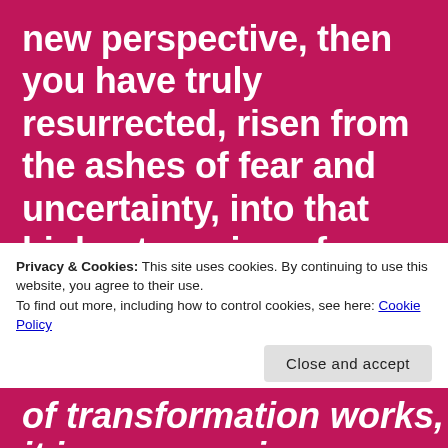new perspective, then you have truly resurrected, risen from the ashes of fear and uncertainty, into that highest version of yourself and what has become your new life. This phase may take some time for us to fully feel like we have our lives back in order but one thing is for sure, you know what you want, you know what you
Privacy & Cookies: This site uses cookies. By continuing to use this website, you agree to their use. To find out more, including how to control cookies, see here: Cookie Policy
Close and accept
of transformation works, it is encouraging